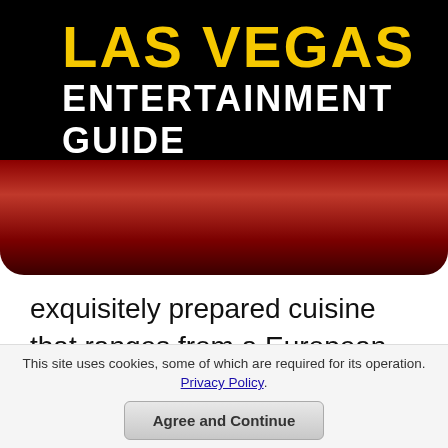LAS VEGAS ENTERTAINMENT GUIDE
exquisitely prepared cuisine that ranges from a European steakhouse to French to Italian to Hawaiian seafood specialties. The most impressive thing about the restaurants is the view of the Strip or the famed Bellagio Fountains which highlight the meals prepared by celebrity chefs from J. Joho to Julian Serrano to Jean-Georges Vongerichten to David Walzog. The contemporary interiors of each establishment brings romanticism to a new height
This site uses cookies, some of which are required for its operation. Privacy Policy. Agree and Continue